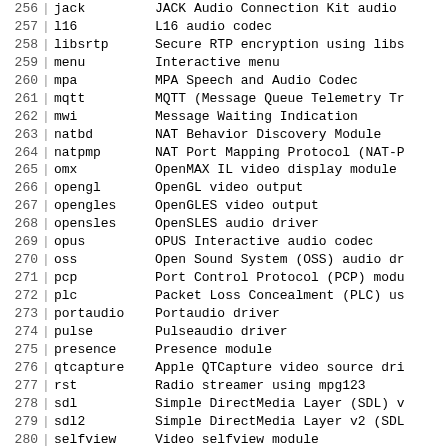| # | | | name | description |
| --- | --- | --- | --- |
| 256 | | | jack | JACK Audio Connection Kit audio |
| 257 | | | l16 | L16 audio codec |
| 258 | | | libsrtp | Secure RTP encryption using libs |
| 259 | | | menu | Interactive menu |
| 260 | | | mpa | MPA Speech and Audio Codec |
| 261 | | | mqtt | MQTT (Message Queue Telemetry Tr |
| 262 | | | mwi | Message Waiting Indication |
| 263 | | | natbd | NAT Behavior Discovery Module |
| 264 | | | natpmp | NAT Port Mapping Protocol (NAT-P |
| 265 | | | omx | OpenMAX IL video display module |
| 266 | | | opengl | OpenGL video output |
| 267 | | | opengles | OpenGLES video output |
| 268 | | | opensles | OpenSLES audio driver |
| 269 | | | opus | OPUS Interactive audio codec |
| 270 | | | oss | Open Sound System (OSS) audio dr |
| 271 | | | pcp | Port Control Protocol (PCP) modu |
| 272 | | | plc | Packet Loss Concealment (PLC) us |
| 273 | | | portaudio | Portaudio driver |
| 274 | | | pulse | Pulseaudio driver |
| 275 | | | presence | Presence module |
| 276 | | | qtcapture | Apple QTCapture video source dri |
| 277 | | | rst | Radio streamer using mpg123 |
| 278 | | | sdl | Simple DirectMedia Layer (SDL) v |
| 279 | | | sdl2 | Simple DirectMedia Layer v2 (SDL |
| 280 | | | selfview | Video selfview module |
| 281 | | | silk | SILK audio codec |
| 282 | | | snapshot | Save video-stream as PNG images |
| 283 | | | sndfile | Audio dumper using libsndfile |
| 284 | | | sndio | Audio driver for OpenBSD |
| 285 | | | speex | Speex audio codec |